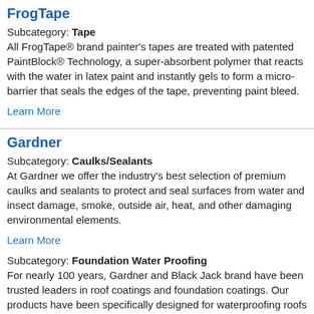FrogTape
Subcategory: Tape
All FrogTape® brand painter's tapes are treated with patented PaintBlock® Technology, a super-absorbent polymer that reacts with the water in latex paint and instantly gels to form a micro-barrier that seals the edges of the tape, preventing paint bleed.
Learn More
Gardner
Subcategory: Caulks/Sealants
At Gardner we offer the industry's best selection of premium caulks and sealants to protect and seal surfaces from water and insect damage, smoke, outside air, heat, and other damaging environmental elements.
Learn More
Subcategory: Foundation Water Proofing
For nearly 100 years, Gardner and Black Jack brand have been trusted leaders in roof coatings and foundation coatings. Our products have been specifically designed for waterproofing roofs and dampproofing foundations.
Learn More
Subcategory: Adhesives
From a long heritage that included Gardner and Black Jack brand